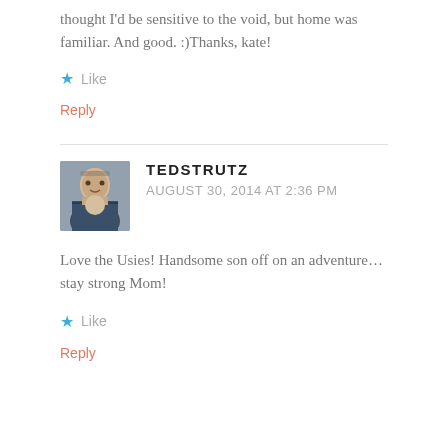thought I'd be sensitive to the void, but home was familiar. And good. :)Thanks, kate!
Like
Reply
TEDSTRUTZ
AUGUST 30, 2014 AT 2:36 PM
Love the Usies! Handsome son off on an adventure... stay strong Mom!
Like
Reply